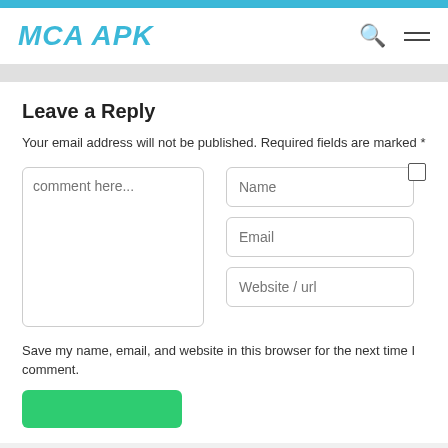MCA APK
Leave a Reply
Your email address will not be published. Required fields are marked *
[Figure (screenshot): Web form with comment textarea on left, and Name, Email, Website/url input fields on right with a checkbox]
Save my name, email, and website in this browser for the next time I comment.